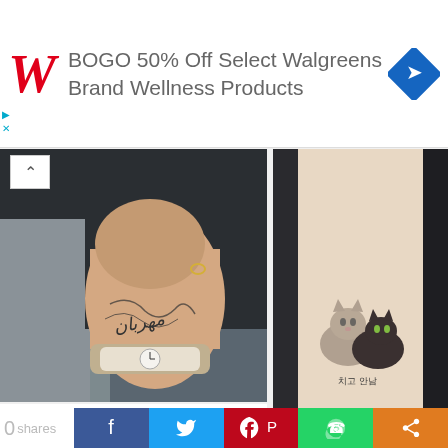[Figure (other): Walgreens ad banner: BOGO 50% Off Select Walgreens Brand Wellness Products with Walgreens W logo and navigation icon]
[Figure (photo): Person's hand with Arabic calligraphy tattoo, wearing a silver watch and gray sweater]
Clear Meaningful Small Arabic Tattoos
See More
[Figure (photo): Person's wrist/arm with a small realistic cat tattoo showing two cats with Korean text below]
Amazing Small Animal Tattoos on Arm
See More
[Figure (photo): Partial photo of a tattoo on dark background, partially visible]
0 Shares  [Facebook] [Twitter] [Pinterest] [WhatsApp] [Share]